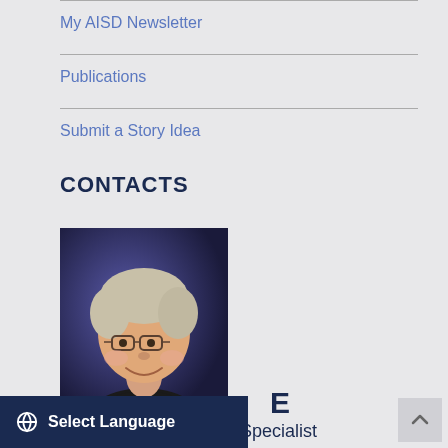My AISD Newsletter
Publications
Submit a Story Idea
CONTACTS
[Figure (photo): Headshot of a middle-aged man with glasses and short grey hair, smiling, wearing a black shirt, with a blue/purple blurred background.]
E
Specialist
Select Language